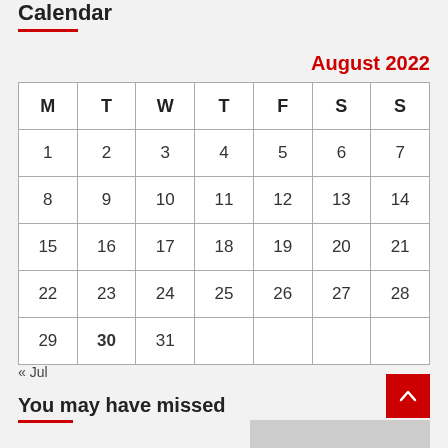Calendar
August 2022
| M | T | W | T | F | S | S |
| --- | --- | --- | --- | --- | --- | --- |
| 1 | 2 | 3 | 4 | 5 | 6 | 7 |
| 8 | 9 | 10 | 11 | 12 | 13 | 14 |
| 15 | 16 | 17 | 18 | 19 | 20 | 21 |
| 22 | 23 | 24 | 25 | 26 | 27 | 28 |
| 29 | 30 | 31 |  |  |  |  |
« Jul
You may have missed